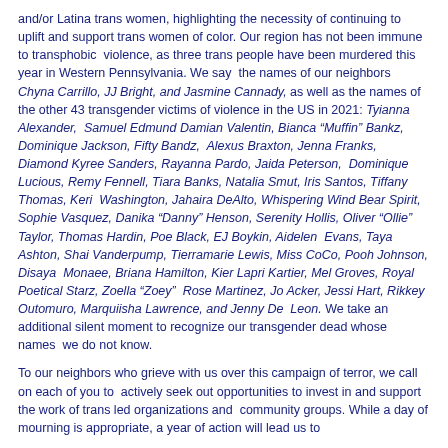and/or Latina trans women, highlighting the necessity of continuing to uplift and support trans women of color. Our region has not been immune to transphobic violence, as three trans people have been murdered this year in Western Pennsylvania. We say the names of our neighbors Chyna Carrillo, JJ Bright, and Jasmine Cannady, as well as the names of the other 43 transgender victims of violence in the US in 2021: Tyianna Alexander, Samuel Edmund Damian Valentin, Bianca "Muffin" Bankz, Dominique Jackson, Fifty Bandz, Alexus Braxton, Jenna Franks, Diamond Kyree Sanders, Rayanna Pardo, Jaida Peterson, Dominique Lucious, Remy Fennell, Tiara Banks, Natalia Smut, Iris Santos, Tiffany Thomas, Keri Washington, Jahaira DeAlto, Whispering Wind Bear Spirit, Sophie Vasquez, Danika "Danny" Henson, Serenity Hollis, Oliver "Ollie" Taylor, Thomas Hardin, Poe Black, EJ Boykin, Aidelen Evans, Taya Ashton, Shai Vanderpump, Tierramarie Lewis, Miss CoCo, Pooh Johnson, Disaya Monaee, Briana Hamilton, Kier Lapri Kartier, Mel Groves, Royal Poetical Starz, Zoella "Zoey" Rose Martinez, Jo Acker, Jessi Hart, Rikkey Outomuro, Marquiisha Lawrence, and Jenny De Leon. We take an additional silent moment to recognize our transgender dead whose names we do not know.
To our neighbors who grieve with us over this campaign of terror, we call on each of you to actively seek out opportunities to invest in and support the work of trans led organizations and community groups. While a day of mourning is appropriate, a year of action will lead us to...